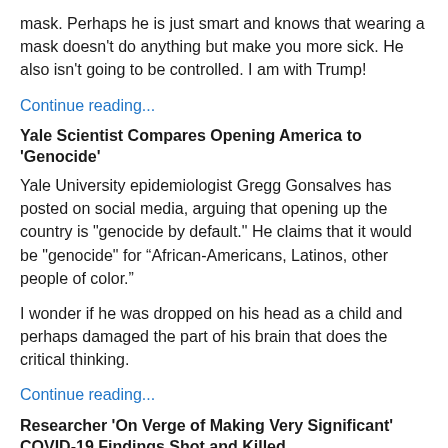mask. Perhaps he is just smart and knows that wearing a mask doesn't do anything but make you more sick. He also isn't going to be controlled. I am with Trump!
Continue reading...
Yale Scientist Compares Opening America to 'Genocide'
Yale University epidemiologist Gregg Gonsalves has posted on social media, arguing that opening up the country is "genocide by default." He claims that it would be "genocide" for “African-Americans, Latinos, other people of color.”
I wonder if he was dropped on his head as a child and perhaps damaged the part of his brain that does the critical thinking.
Continue reading...
Researcher 'On Verge of Making Very Significant' COVID-19 Findings Shot and Killed
Bing Liu, a 37-year-old researcher at the University of Pittsburgh, was shot and killed over the weekend in Pittsburgh. He had been shot in the head and neck.
The researcher was said to be on the "verge of making very